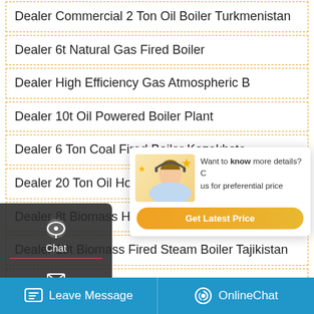Dealer Commercial 2 Ton Oil Boiler Turkmenistan
Dealer 6t Natural Gas Fired Boiler
Dealer High Efficiency Gas Atmospheric B...
Dealer 10t Oil Powered Boiler Plant
Dealer 6 Ton Coal Fired Boiler Kazakhstan
Dealer 20 Ton Oil Hot Water Boiler Azerbaijan
Dealer 8t Biomass Hot Water Boiler Industrial Moldavia
Dealer 10t Biomass Fired Steam Boiler Tajikistan
Dealer 8t Biomass Boiler Plant Energy Saving Armenia
...iler Brand Industrial Tajikistan
[Figure (infographic): Popup overlay with customer service representative photo, stars, text 'Want to know more details? Contact us for preferential price' and orange 'Get Latest Price' button]
[Figure (infographic): Left sidebar with dark background showing Chat (speech bubble icon), Email (envelope icon), and Contact (chat dots icon) options]
[Figure (infographic): WhatsApp banner at bottom left: Save Stickers on WhatsApp with phone and emoji icons]
Leave Message   OnlineChat